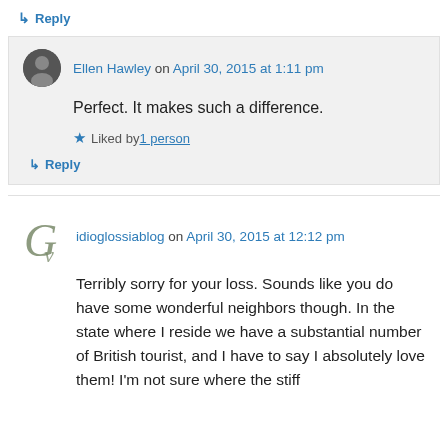↳ Reply
Ellen Hawley on April 30, 2015 at 1:11 pm
Perfect. It makes such a difference.
★ Liked by 1 person
↳ Reply
idioglossiablog on April 30, 2015 at 12:12 pm
Terribly sorry for your loss. Sounds like you do have some wonderful neighbors though. In the state where I reside we have a substantial number of British tourist, and I have to say I absolutely love them! I'm not sure where the stiff